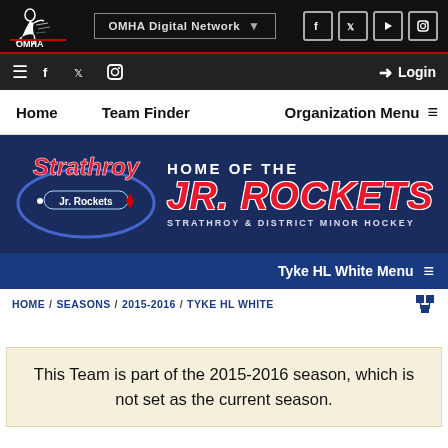[Figure (screenshot): OMHA website screenshot showing Strathroy Jr. Rockets minor hockey team page]
OMHA Digital Network — Home / Seasons / 2015-2016 / Tyke HL White
HOME / SEASONS / 2015-2016 / TYKE HL WHITE
Tyke HL White Menu
HOME OF THE JR. ROCKETS STRATHROY & DISTRICT MINOR HOCKEY
This Team is part of the 2015-2016 season, which is not set as the current season.